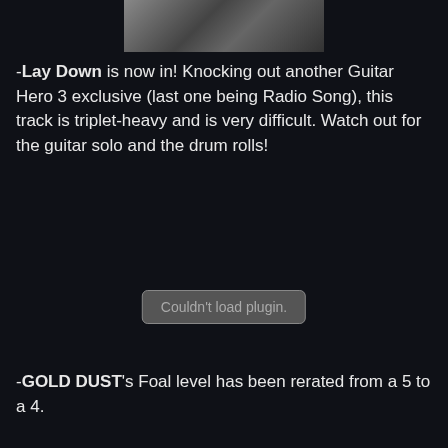[Figure (photo): Partial black and white photo at the top center of the page]
-Lay Down is now in! Knocking out another Guitar Hero 3 exclusive (last one being Radio Song), this track is triplet-heavy and is very difficult. Watch out for the guitar solo and the drum rolls!
[Figure (other): Plugin area with 'Couldn't load plugin.' message]
-GOLD DUST's Foal level has been rerated from a 5 to a 4.